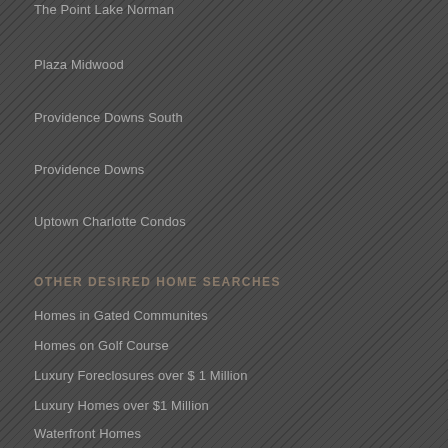The Point Lake Norman
Plaza Midwood
Providence Downs South
Providence Downs
Uptown Charlotte Condos
OTHER DESIRED HOME SEARCHES
Homes in Gated Communites
Homes on Golf Course
Luxury Foreclosures over $ 1 Million
Luxury Homes over $1 Million
Waterfront Homes